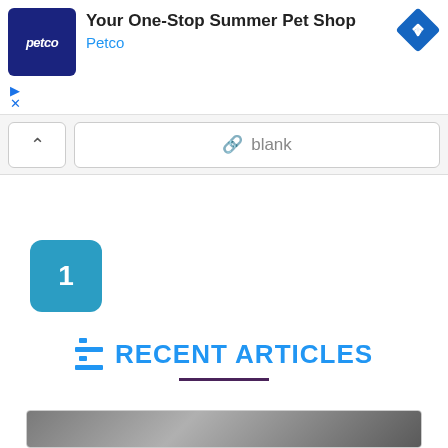[Figure (screenshot): Petco advertisement banner with dark blue logo square showing 'petco' text, ad title 'Your One-Stop Summer Pet Shop', brand name 'Petco' in blue, and a blue diamond navigation icon on the right. Play and close controls on lower left.]
[Figure (screenshot): Browser toolbar with chevron/back button on left and URL bar showing chain-link icon and 'blank' text in gray.]
1
RECENT ARTICLES
[Figure (photo): Partial view of an article card with a dark/gray image at the bottom of the page.]